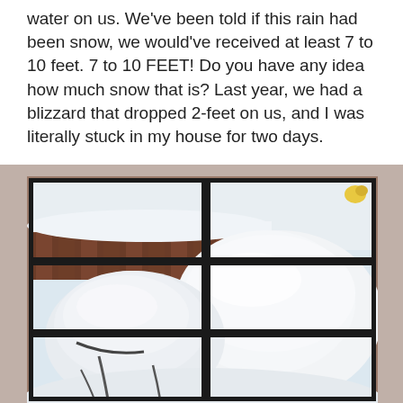water on us. We've been told if this rain had been snow, we would've received at least 7 to 10 feet. 7 to 10 FEET! Do you have any idea how much snow that is? Last year, we had a blizzard that dropped 2-feet on us, and I was literally stuck in my house for two days.
[Figure (photo): View through a multi-pane window with dark frames showing outdoor patio furniture heavily covered in deep snow. A wooden fence and structures are visible in the background, also blanketed in snow. A small yellow object is visible in the upper right. The scene depicts significant snow accumulation.]